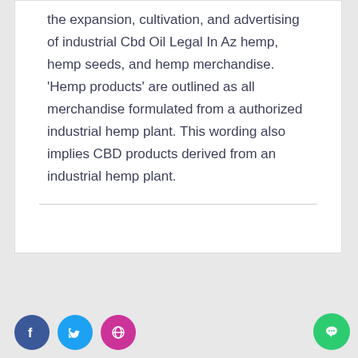the expansion, cultivation, and advertising of industrial Cbd Oil Legal In Az hemp, hemp seeds, and hemp merchandise. 'Hemp products' are outlined as all merchandise formulated from a authorized industrial hemp plant. This wording also implies CBD products derived from an industrial hemp plant.
Social media icons: Facebook, Twitter, Globe/Website; Chat button